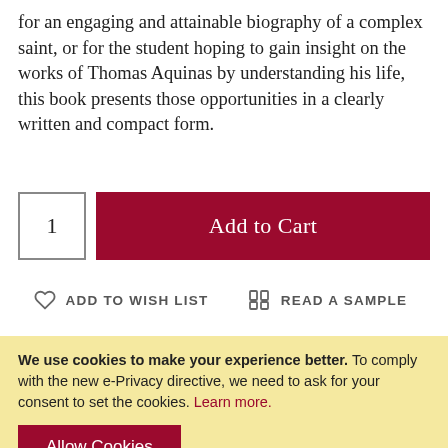for an engaging and attainable biography of a complex saint, or for the student hoping to gain insight on the works of Thomas Aquinas by understanding his life, this book presents those opportunities in a clearly written and compact form.
[Figure (other): Quantity input box showing '1' and a dark red 'Add to Cart' button]
[Figure (other): Two action links: heart icon 'ADD TO WISH LIST' and book icon 'READ A SAMPLE']
We use cookies to make your experience better. To comply with the new e-Privacy directive, we need to ask for your consent to set the cookies. Learn more.
[Figure (other): Dark red 'Allow Cookies' button]